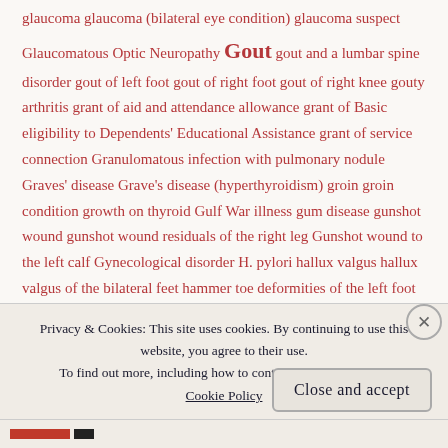glaucoma glaucoma (bilateral eye condition) glaucoma suspect Glaucomatous Optic Neuropathy Gout gout and a lumbar spine disorder gout of left foot gout of right foot gout of right knee gouty arthritis grant of aid and attendance allowance grant of Basic eligibility to Dependents' Educational Assistance grant of service connection Granulomatous infection with pulmonary nodule Graves' disease Grave's disease (hyperthyroidism) groin groin condition growth on thyroid Gulf War illness gum disease gunshot wound gunshot wound residuals of the right leg Gunshot wound to the left calf Gynecological disorder H. pylori hallux valgus hallux valgus of the bilateral feet hammer toe deformities of the left foot hammer toe deformities of the right foot hammer toes
Privacy & Cookies: This site uses cookies. By continuing to use this website, you agree to their use. To find out more, including how to control cookies, see here: Cookie Policy